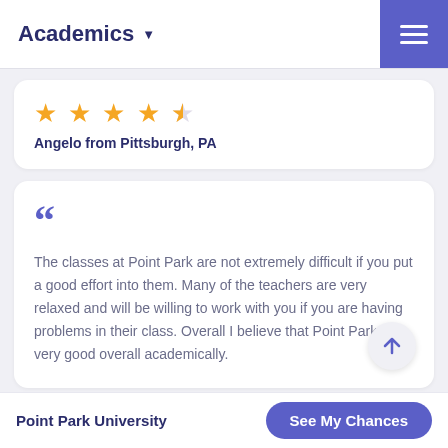Academics
★★★★½ Angelo from Pittsburgh, PA
The classes at Point Park are not extremely difficult if you put a good effort into them. Many of the teachers are very relaxed and will be willing to work with you if you are having problems in their class. Overall I believe that Point Park is very good overall academically.
Point Park University  See My Chances